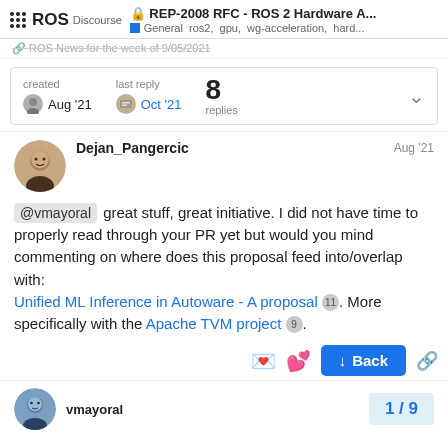ROS Discourse — REP-2008 RFC - ROS 2 Hardware A... — General ros2, gpu, wg-acceleration, hard...
ROS News for the week of 9/05/2021
| created | last reply | replies |  |
| --- | --- | --- | --- |
| Aug '21 | Oct '21 | 8 | ▾ |
Dejan_Pangercic — Aug '21
@vmayoral great stuff, great initiative. I did not have time to properly read through your PR yet but would you mind commenting on where does this proposal feed into/overlap with: Unified ML Inference in Autoware - A proposal 11 . More specifically with the Apache TVM project 9 .
↓ Back
vmayoral — 1 / 9